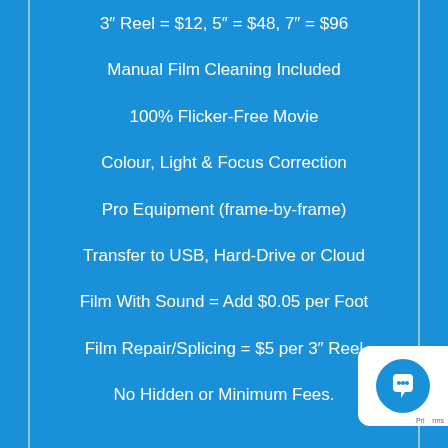3″ Reel = $12, 5″ = $48, 7″ = $96
Manual Film Cleaning Included
100% Flicker-Free Movie
Colour, Light & Focus Correction
Pro Equipment (frame-by-frame)
Transfer to USB, Hard-Drive or Cloud
Film With Sound = Add $0.05 per Foot
Film Repair/Splicing = $5 per 3″ Reel
No Hidden or Minimum Fees.